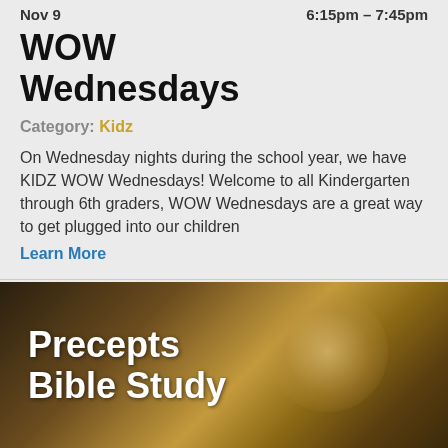Nov 9    6:15pm – 7:45pm
WOW Wednesdays
Category: Kidz
On Wednesday nights during the school year, we have KIDZ WOW Wednesdays! Welcome to all Kindergarten through 6th graders, WOW Wednesdays are a great way to get plugged into our children
Learn More
[Figure (illustration): Promotional banner image with dark brown/golden gradient background showing the text 'Precepts Bible Study' in large white bold font]